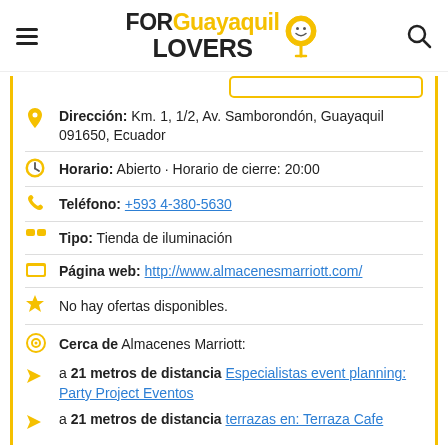FOR Guayaquil LOVERS
Dirección: Km. 1, 1/2, Av. Samborondón, Guayaquil 091650, Ecuador
Horario: Abierto · Horario de cierre: 20:00
Teléfono: +593 4-380-5630
Tipo: Tienda de iluminación
Página web: http://www.almacenesmarriott.com/
No hay ofertas disponibles.
Cerca de Almacenes Marriott:
a 21 metros de distancia Especialistas event planning: Party Project Eventos
a 21 metros de distancia terrazas en: Terraza Cafe